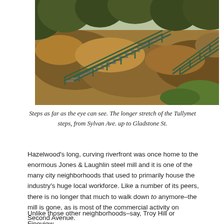[Figure (photo): Outdoor staircase with green metal railings climbing a hillside covered in dry brown grass and shrubs, with trees visible at the top. The Tullymet steps from Sylvan Ave. up to Gladstone St.]
Steps as far as the eye can see. The longer stretch of the Tullymet steps, from Sylvan Ave. up to Gladstone St.
Hazelwood's long, curving riverfront was once home to the enormous Jones & Laughlin steel mill and it is one of the many city neighborhoods that used to primarily house the industry's huge local workforce. Like a number of its peers, there is no longer that much to walk down to anymore–the mill is gone, as is most of the commercial activity on Second Avenue.
Unlike those other neighborhoods–say, Troy Hill or Fineview